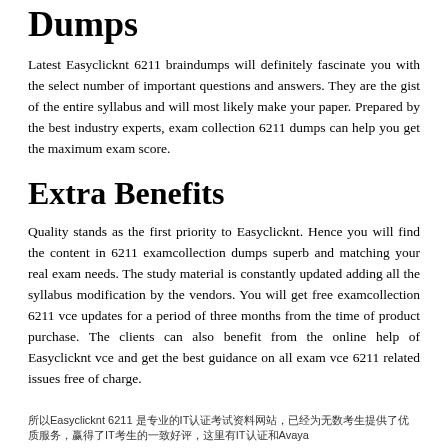Dumps
Latest Easyclicknt 6211 braindumps will definitely fascinate you with the select number of important questions and answers. They are the gist of the entire syllabus and will most likely make your paper. Prepared by the best industry experts, exam collection 6211 dumps can help you get the maximum exam score.
Extra Benefits
Quality stands as the first priority to Easyclicknt. Hence you will find the content in 6211 examcollection dumps superb and matching your real exam needs. The study material is constantly updated adding all the syllabus modification by the vendors. You will get free examcollection 6211 vce updates for a period of three months from the time of product purchase. The clients can also benefit from the online help of Easyclicknt vce and get the best guidance on all exam vce 6211 related issues free of charge.
所以Easyclicknt 6211 是专业的IT认证考试资料网站，已经为无数考生提供了优质服务，赢得了IT考生的一致好评，这里有IT认证和Avaya